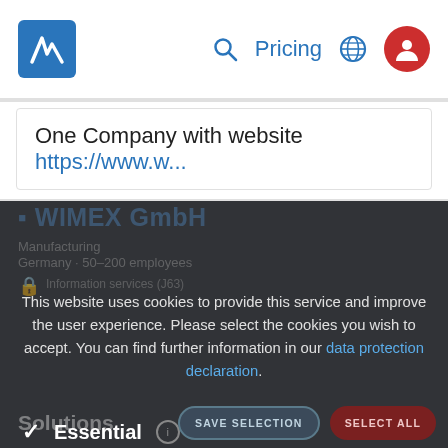[Figure (screenshot): Navigation bar with logo, search icon, Pricing link, globe icon, and red avatar icon]
One Company with website https://www.w...
This website uses cookies to provide this service and improve the user experience. Please select the cookies you wish to accept. You can find further information in our data protection declaration.
✓ Essential ⓘ
☐ User statistics ⓘ
☐ Third Party Tracking ⓘ
SAVE SELECTION   SELECT ALL